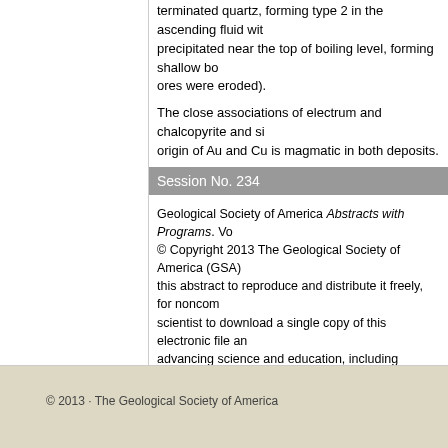terminated quartz, forming type 2 in the ascending fluid with precipitated near the top of boiling level, forming shallow bo ores were eroded).
The close associations of electrum and chalcopyrite and si origin of Au and Cu is magmatic in both deposits.
Session No. 234
Geological Society of America Abstracts with Programs. Vo © Copyright 2013 The Geological Society of America (GSA) this abstract to reproduce and distribute it freely, for noncom scientist to download a single copy of this electronic file and advancing science and education, including classroom use, including the author information. All other forms of reproduc GSA Copyright Permissions.
Back to: T98. Recent Advances and Applications of Isotope
<< Previous Ab
© 2013 · The Geological Society of America